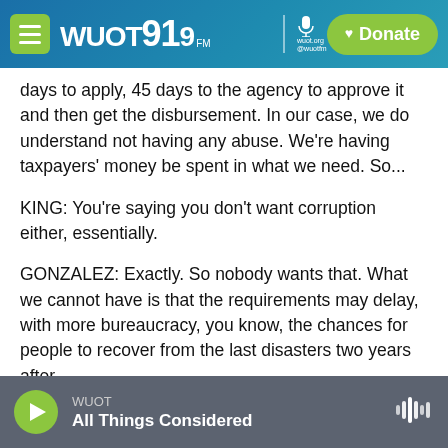WUOT 91.9 FM | Donate
days to apply, 45 days to the agency to approve it and then get the disbursement. In our case, we do understand not having any abuse. We're having taxpayers' money be spent in what we need. So...
KING: You're saying you don't want corruption either, essentially.
GONZALEZ: Exactly. So nobody wants that. What we cannot have is that the requirements may delay, with more bureaucracy, you know, the chances for people to recover from the last disasters two years after.
WUOT | All Things Considered